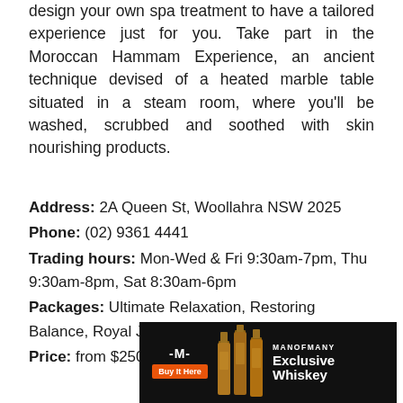design your own spa treatment to have a tailored experience just for you. Take part in the Moroccan Hammam Experience, an ancient technique devised of a heated marble table situated in a steam room, where you'll be washed, scrubbed and soothed with skin nourishing products.
Address: 2A Queen St, Woollahra NSW 2025
Phone: (02) 9361 4441
Trading hours: Mon-Wed & Fri 9:30am-7pm, Thu 9:30am-8pm, Sat 8:30am-6pm
Packages: Ultimate Relaxation, Restoring Balance, Royal Journey, Forget Jet Lag
Price: from $250
[Figure (infographic): Advertisement banner for ManOfMany Exclusive Whiskey with black background, orange Buy It Here button, whiskey bottle images, MANOFMANY brand name and Exclusive Whiskey text]